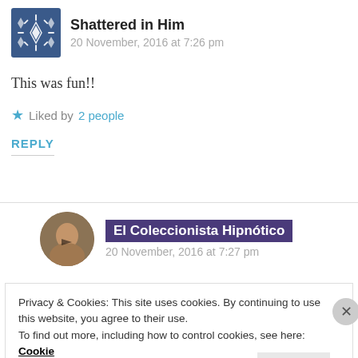Shattered in Him
20 November, 2016 at 7:26 pm
This was fun!!
Liked by 2 people
REPLY
El Coleccionista Hipnótico
20 November, 2016 at 7:27 pm
Privacy & Cookies: This site uses cookies. By continuing to use this website, you agree to their use.
To find out more, including how to control cookies, see here: Cookie Policy
Close and accept